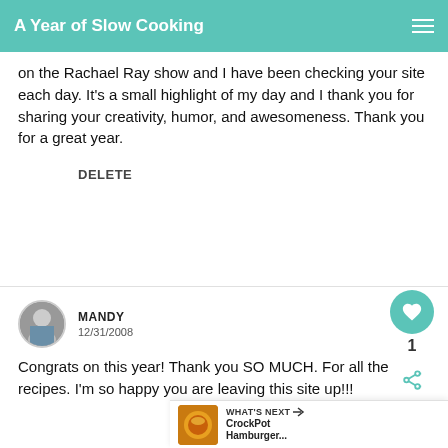A Year of Slow Cooking
on the Rachael Ray show and I have been checking your site each day. It's a small highlight of my day and I thank you for sharing your creativity, humor, and awesomeness. Thank you for a great year.
DELETE
MANDY
12/31/2008
Congrats on this year! Thank you SO MUCH. For all the recipes. I'm so happy you are leaving this site up!!!